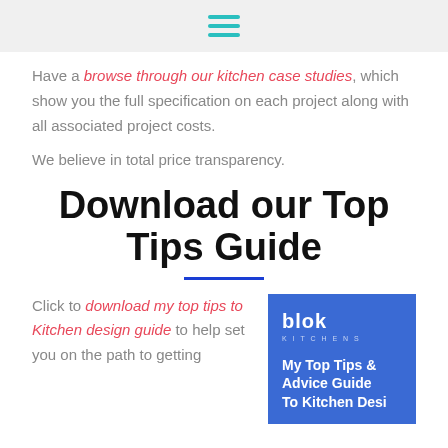Have a browse through our kitchen case studies, which show you the full specification on each project along with all associated project costs.
We believe in total price transparency.
Download our Top Tips Guide
Click to download my top tips to Kitchen design guide to help set you on the path to getting
[Figure (illustration): Blue book cover showing the blok kitchens logo and text 'My Top Tips & Advice Guide To Kitchen Desi...' (truncated)]